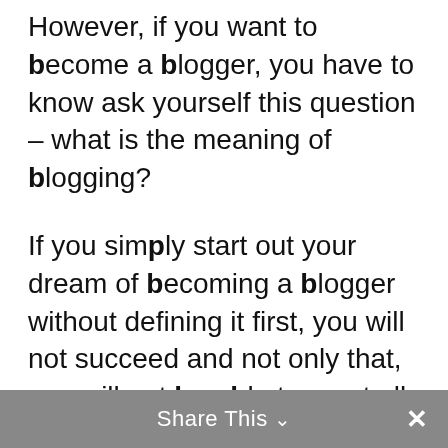However, if you want to become a blogger, you have to know ask yourself this question – what is the meaning of blogging?
If you simply start out your dream of becoming a blogger without defining it first, you will not succeed and not only that, you will not be able to meet all your objectives and you might not target the appropriate market. In order to understand the meaning of blogging, you have to know the common reasons why many people are into blogging. One of the most common reasons is for fun.
People who only want to have fun through blogging defines this activity as their way of
Share This ∨  ✕